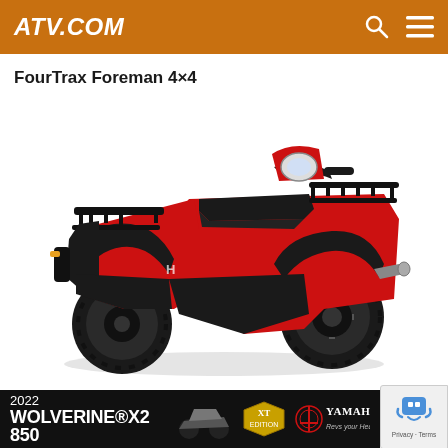ATV.COM
FourTrax Foreman 4×4
[Figure (photo): Red Honda FourTrax Foreman 4x4 ATV photographed from a front-right angle on a white background, showing full vehicle with four knobby tires, front and rear racks, exhaust pipe, and handlebars.]
Long known as the workhorse of the Honda ATV line, FourTrax Foreman features... (text continues) ...arm
[Figure (screenshot): Advertisement banner for 2022 Yamaha Wolverine X2 850 XT Edition on dark background with ATV image]
[Figure (logo): Google reCAPTCHA badge showing robot icon with Privacy and Terms links]